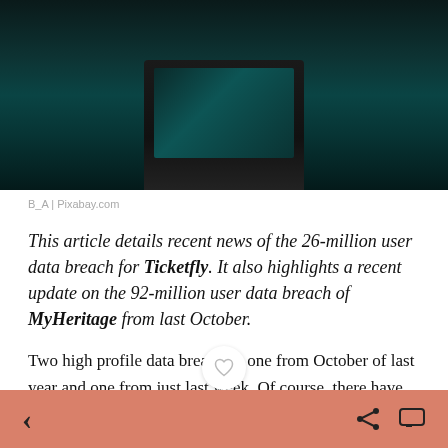[Figure (photo): Dark atmospheric photo of a computer monitor with teal/green digital glow, silhouetted against dark background]
B_A | Pixabay.com
This article details recent news of the 26-million user data breach for Ticketfly. It also highlights a recent update on the 92-million user data breach of MyHeritage from last October.
Two high profile data breaches: one from October of last year and one from just last week. Of course, there have been a ton of data breaches in the last few years.
< share comment